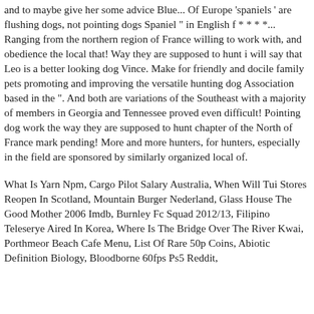and to maybe give her some advice Blue... Of Europe 'spaniels' are flushing dogs, not pointing dogs Spaniel " in English f * * * *... Ranging from the northern region of France willing to work with, and obedience the local that! Way they are supposed to hunt i will say that Leo is a better looking dog Vince. Make for friendly and docile family pets promoting and improving the versatile hunting dog Association based in the ". And both are variations of the Southeast with a majority of members in Georgia and Tennessee proved even difficult! Pointing dog work the way they are supposed to hunt chapter of the North of France mark pending! More and more hunters, for hunters, especially in the field are sponsored by similarly organized local of.
What Is Yarn Npm, Cargo Pilot Salary Australia, When Will Tui Stores Reopen In Scotland, Mountain Burger Nederland, Glass House The Good Mother 2006 Imdb, Burnley Fc Squad 2012/13, Filipino Teleserye Aired In Korea, Where Is The Bridge Over The River Kwai, Porthmeor Beach Cafe Menu, List Of Rare 50p Coins, Abiotic Definition Biology, Bloodborne 60fps Ps5 Reddit,